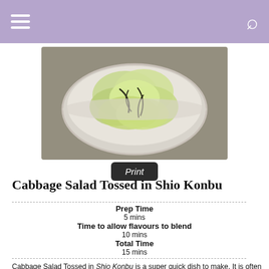Navigation header with hamburger menu and search icon
[Figure (photo): Bowl of cabbage salad tossed in shio konbu, viewed from above on a wooden surface]
Print
Cabbage Salad Tossed in Shio Konbu
Prep Time
5 mins
Time to allow flavours to blend
10 mins
Total Time
15 mins
Cabbage Salad Tossed in Shio Konbu is a super quick dish to make. It is often served at Izakaya (Japanese-style taverns) in Japan, and perfect as a side dish and a salad. The umami from the shio konbu (salted dried kelp) takes the plain cabbage to the next level.
Don't forget to see the section 'MEAL IDEAS' below the recipe card! It gives you a list of dishes that I have already posted and this recipe that can make up a complete meal. I hope it is of help to you.